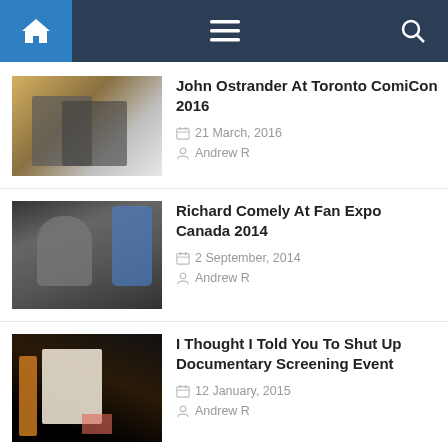Navigation bar with home, menu, and search icons
[Figure (photo): Photo of John Ostrander sitting at a table at Toronto ComiCon 2016, smiling, with books and comics on the table]
John Ostrander At Toronto ComiCon 2016
21 March, 2016
Andrew R
[Figure (photo): Photo of Richard Comely at Fan Expo Canada 2014, sitting at a table with arms crossed, person in blue shirt behind him]
Richard Comely At Fan Expo Canada 2014
2 September, 2014
Andrew R
[Figure (photo): Dark photo showing a book or pamphlet titled 'I Told You To Shut Up' on a table]
I Thought I Told You To Shut Up Documentary Screening Event
12 January, 2015
Andrew R
[Figure (photo): Partial photo at bottom, colorful, partially cut off]
Chip Zdarsky At Silver Snail Comics